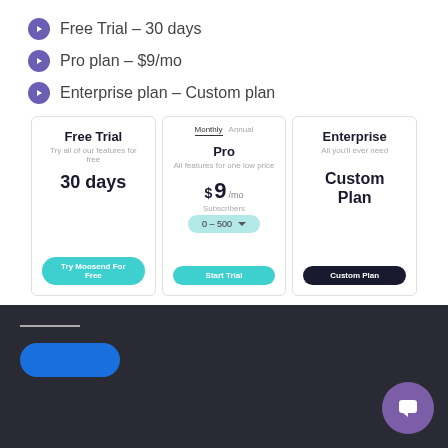Free Trial – 30 days
Pro plan – $9/mo
Enterprise plan – Custom plan
[Figure (screenshot): Three pricing cards: Free Trial (30 days, Try Moosend For Free button), Pro ($9/mo, Start Trial button, Monthly/Annual toggle, 0-500 subscribers dropdown), Enterprise (Custom Plan, Custom Plan button)]